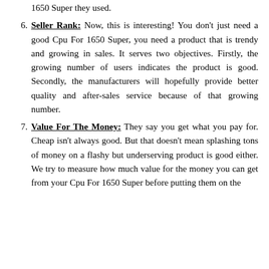1650 Super they used.
Seller Rank: Now, this is interesting! You don't just need a good Cpu For 1650 Super, you need a product that is trendy and growing in sales. It serves two objectives. Firstly, the growing number of users indicates the product is good. Secondly, the manufacturers will hopefully provide better quality and after-sales service because of that growing number.
Value For The Money: They say you get what you pay for. Cheap isn't always good. But that doesn't mean splashing tons of money on a flashy but underserving product is good either. We try to measure how much value for the money you can get from your Cpu For 1650 Super before putting them on the